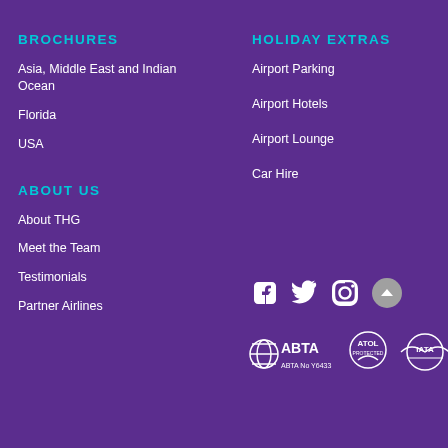BROCHURES
Asia, Middle East and Indian Ocean
Florida
USA
HOLIDAY EXTRAS
Airport Parking
Airport Hotels
Airport Lounge
Car Hire
ABOUT US
About THG
Meet the Team
Testimonials
Partner Airlines
[Figure (logo): Social media icons: Facebook, Twitter, Instagram, and a back-to-top button]
[Figure (logo): ABTA No Y6433 logo, ATOL Protected logo, IATA logo]